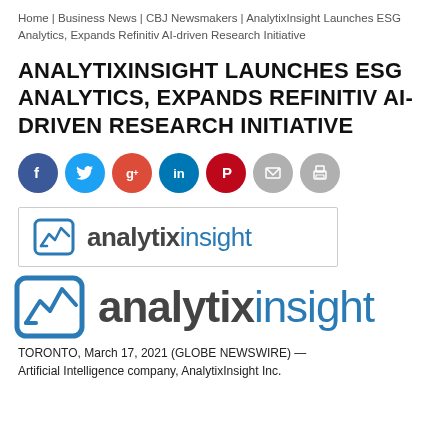Home | Business News | CBJ Newsmakers | AnalytixInsight Launches ESG Analytics, Expands Refinitiv AI-driven Research Initiative
ANALYTIXINSIGHT LAUNCHES ESG ANALYTICS, EXPANDS REFINITIV AI-DRIVEN RESEARCH INITIATIVE
[Figure (logo): AnalytixInsight logo in bordered box (small version with icon and text)]
[Figure (logo): AnalytixInsight logo large version with icon and text]
TORONTO, March 17, 2021 (GLOBE NEWSWIRE) — Artificial Intelligence company, AnalytixInsight Inc.